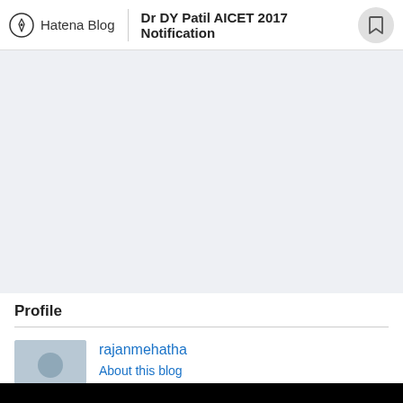Hatena Blog | Dr DY Patil AICET 2017 Notification
[Figure (other): Light gray content area placeholder]
Profile
[Figure (photo): Default user avatar silhouette on gray background]
rajanmehatha
About this blog